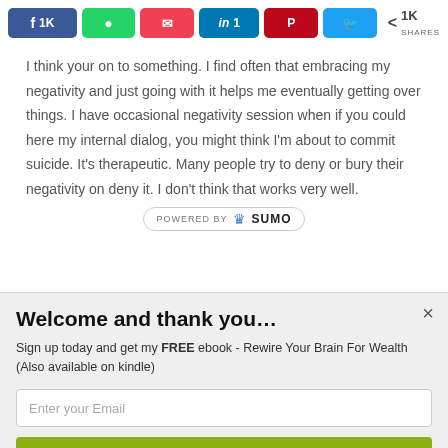[Figure (other): Social media share buttons bar with Facebook (1K), WhatsApp, Pocket, LinkedIn (1), Pinterest, Twitter buttons and a share count showing 1K SHARES]
I think your on to something. I find often that embracing my negativity and just going with it helps me eventually getting over things. I have occasional negativity session when if you could here my internal dialog, you might think I'm about to commit suicide. It's therapeutic. Many people try to deny or bury their negativity on deny it. I don't think that works very well.
[Figure (logo): POWERED BY SUMO badge with crown icon]
Welcome and thank you…
Sign up today and get my FREE ebook - Rewire Your Brain For Wealth (Also available on kindle)
Enter your Email
yes please i would love your book